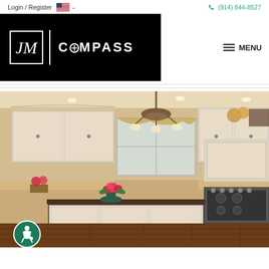Login / Register   🇺🇸 ∨   (914) 844-8527
[Figure (logo): JM Compass real estate logo on black background — square box with JM letters on left, vertical divider, then COMPASS text in white bold letters]
MENU
[Figure (photo): Interior photo of a luxury kitchen with white cabinetry, dark granite island countertop, hanging chandelier light fixture, hardwood floors, and floral arrangements]